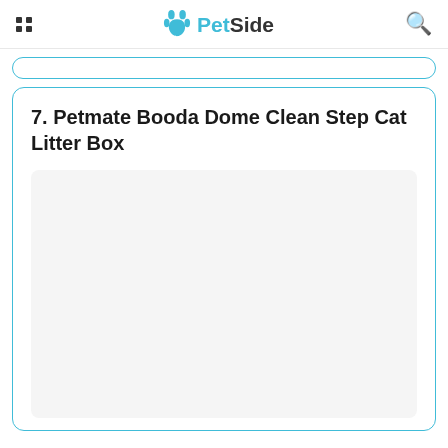PetSide
7. Petmate Booda Dome Clean Step Cat Litter Box
[Figure (photo): Product image placeholder area for Petmate Booda Dome Clean Step Cat Litter Box]